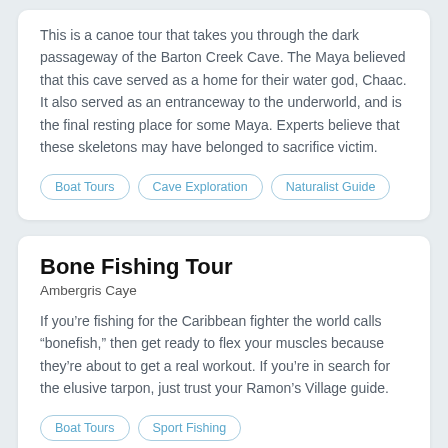This is a canoe tour that takes you through the dark passageway of the Barton Creek Cave. The Maya believed that this cave served as a home for their water god, Chaac. It also served as an entranceway to the underworld, and is the final resting place for some Maya. Experts believe that these skeletons may have belonged to sacrifice victim.
Boat Tours
Cave Exploration
Naturalist Guide
Bone Fishing Tour
Ambergris Caye
If you're fishing for the Caribbean fighter the world calls “bonefish,” then get ready to flex your muscles because they're about to get a real workout. If you're in search for the elusive tarpon, just trust your Ramon's Village guide.
Boat Tours
Sport Fishing